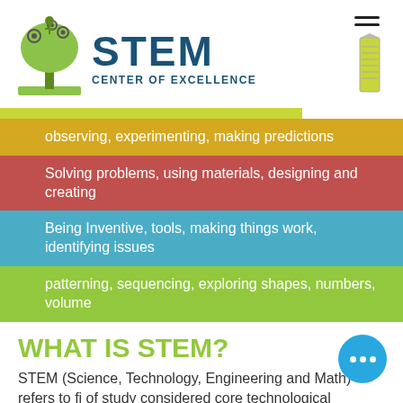[Figure (logo): STEM Center of Excellence logo with a green tree illustration and the text STEM CENTER OF EXCELLENCE]
observing, experimenting, making predictions
Solving problems, using materials, designing and creating
Being Inventive, tools, making things work, identifying issues
patterning, sequencing, exploring shapes, numbers, volume
WHAT IS STEM?
STEM (Science, Technology, Engineering and Math) refers to fi of study considered core technological